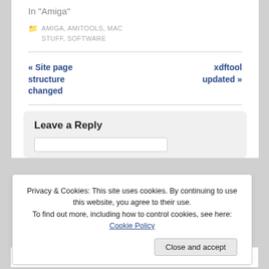In "Amiga"
AMIGA, AMITOOLS, MAC STUFF, SOFTWARE
« Site page structure changed   xdftool updated »
Leave a Reply
Privacy & Cookies: This site uses cookies. By continuing to use this website, you agree to their use. To find out more, including how to control cookies, see here: Cookie Policy
Close and accept
« Site page   xdftool